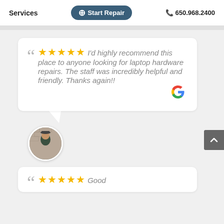Services   + Start Repair   650.968.2400
[Figure (screenshot): Google review card with 5 stars and quote: I'd highly recommend this place to anyone looking for laptop hardware repairs. The staff was incredibly helpful and friendly. Thanks again!! with Google G logo and reviewer avatar photo]
[Figure (screenshot): Second Google review card beginning with 5 stars and the word 'Good']